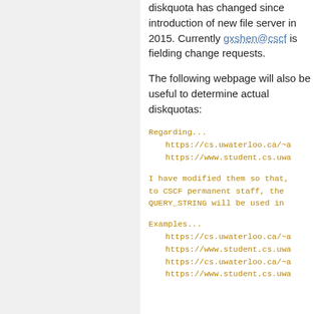diskquota has changed since introduction of new file server in 2015. Currently gxshen@cscf is fielding change requests.
The following webpage will also be useful to determine actual diskquotas:
Regarding...
    https://cs.uwaterloo.ca/~a
    https://www.student.cs.uwa
I have modified them so that, to CSCF permanent staff, the QUERY_STRING will be used in
Examples...
    https://cs.uwaterloo.ca/~a
    https://www.student.cs.uwa
    https://cs.uwaterloo.ca/~a
    https://www.student.cs.uwa